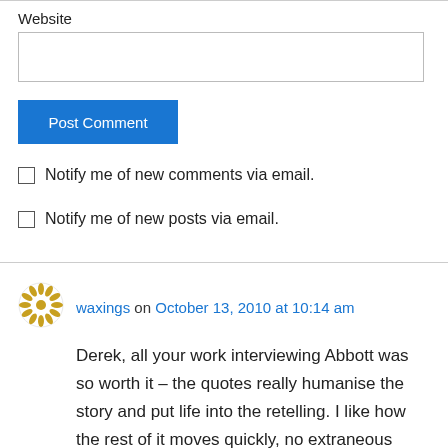Website
[Figure (screenshot): Website text input field (empty)]
[Figure (screenshot): Post Comment button (blue)]
Notify me of new comments via email.
Notify me of new posts via email.
[Figure (logo): User avatar icon with golden wheat/laurel wreath design]
waxings on October 13, 2010 at 10:14 am
Derek, all your work interviewing Abbott was so worth it – the quotes really humanise the story and put life into the retelling. I like how the rest of it moves quickly, no extraneous words or